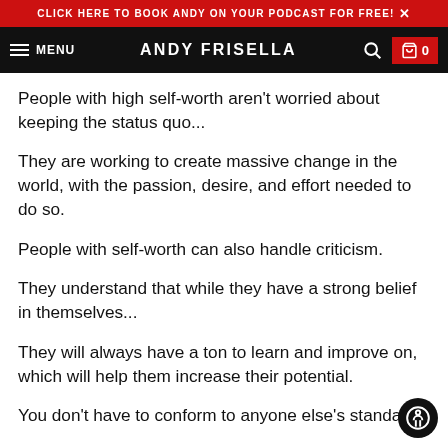CLICK HERE TO BOOK ANDY ON YOUR PODCAST FOR FREE! ✕
MENU   ANDY FRISELLA   🔍   🛒 0
People with high self-worth aren't worried about keeping the status quo...
They are working to create massive change in the world, with the passion, desire, and effort needed to do so.
People with self-worth can also handle criticism.
They understand that while they have a strong belief in themselves...
They will always have a ton to learn and improve on, which will help them increase their potential.
You don't have to conform to anyone else's standards.
You have your own...